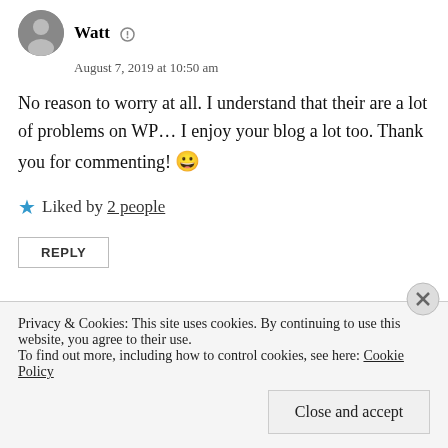Watt — August 7, 2019 at 10:50 am
No reason to worry at all. I understand that their are a lot of problems on WP… I enjoy your blog a lot too. Thank you for commenting! 😀
★ Liked by 2 people
REPLY
[Figure (photo): Blue Apply button and a circular profile photo of a man with glasses and beard]
Privacy & Cookies: This site uses cookies. By continuing to use this website, you agree to their use. To find out more, including how to control cookies, see here: Cookie Policy
Close and accept